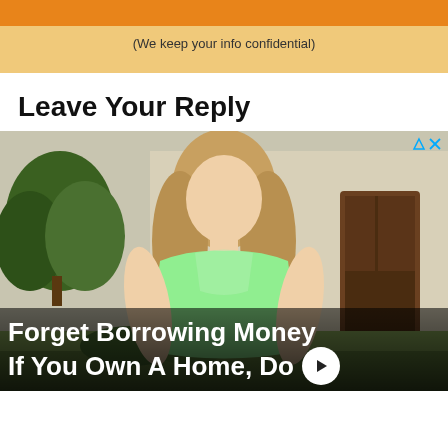(We keep your info confidential)
Leave Your Reply
[Figure (photo): Advertisement photo of a blonde woman in a green top standing in front of a house, with overlay text 'Forget Borrowing Money If You Own A Home, Do' and an arrow button. Ad icons (triangle and X) visible in top right corner.]